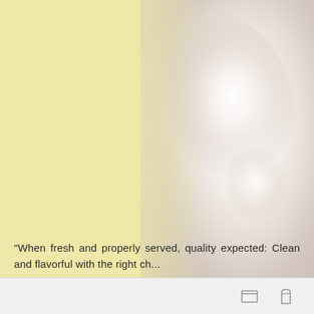[Figure (photo): Background image showing a blurred light-colored object (possibly a bottle or vessel) on the right side against a yellow/cream background on the left.]
"When fresh and properly served, quality expected: Clean and flavorful with the right ch...